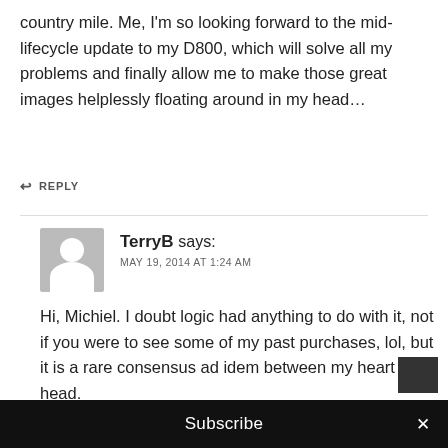country mile. Me, I'm so looking forward to the mid-lifecycle update to my D800, which will solve all my problems and finally allow me to make those great images helplessly floating around in my head…
↩ REPLY
TerryB says: MAY 19, 2014 AT 1:24 AM
Hi, Michiel. I doubt logic had anything to do with it, not if you were to see some of my past purchases, lol, but it is a rare consensus ad idem between my heart and head.
Subscribe